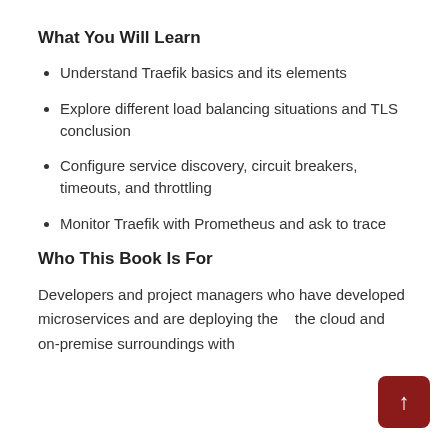What You Will Learn
Understand Traefik basics and its elements
Explore different load balancing situations and TLS conclusion
Configure service discovery, circuit breakers, timeouts, and throttling
Monitor Traefik with Prometheus and ask to trace
Who This Book Is For
Developers and project managers who have developed microservices and are deploying them the cloud and on-premise surroundings with